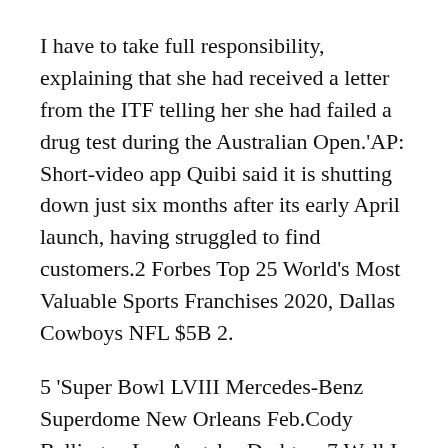I have to take full responsibility, explaining that she had received a letter from the ITF telling her she had failed a drug test during the Australian Open.'AP: Short-video app Quibi said it is shutting down just six months after its early April launch, having struggled to find customers.2 Forbes Top 25 World's Most Valuable Sports Franchises 2020, Dallas Cowboys NFL $5B 2.
5 'Super Bowl LVIII Mercedes-Benz Superdome New Orleans Feb.Cody Bellinger, Los Angeles Dodgers 7.Well I have to watch the film.
Washington Football Team NFL $3B 16.Los